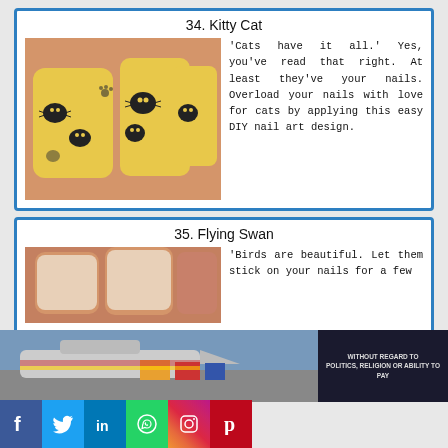34. Kitty Cat
[Figure (photo): Close-up photo of hands with yellow nail polish featuring black cat face designs]
'Cats have it all.' Yes, you've read that right. At least they've your nails. Overload your nails with love for cats by applying this easy DIY nail art design.
35. Flying Swan
[Figure (photo): Close-up photo of fingers with nail art]
'Birds are beautiful. Let them stick on your nails for a few
[Figure (photo): Advertisement banner showing airplane cargo loading with text 'WITHOUT REGARD TO POLITICS, RELIGION OR ABILITY TO PAY']
[Figure (infographic): Social media sharing buttons: Facebook, Twitter, LinkedIn, WhatsApp, Instagram, Pinterest]